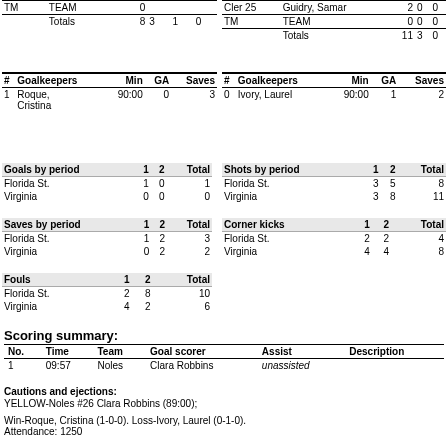| TM | TEAM |  |  |  |  |
| --- | --- | --- | --- | --- | --- |
| TM | TEAM | 0 |  |  |  |
|  | Totals | 8 | 3 | 1 | 0 |
| # | TEAM |  |  |  |  |
| --- | --- | --- | --- | --- | --- |
| Cler 25 | Guidry, Samar | 2 | 0 | 0 |  |
| TM | TEAM | 0 | 0 | 0 |  |
|  | Totals | 11 | 3 | 0 |  |
| # | Goalkeepers | Min | GA | Saves |
| --- | --- | --- | --- | --- |
| 1 | Roque, Cristina | 90:00 | 0 | 3 |
| # | Goalkeepers | Min | GA | Saves |
| --- | --- | --- | --- | --- |
| 0 | Ivory, Laurel | 90:00 | 1 | 2 |
| Goals by period |  | 1 | 2 | Total |
| --- | --- | --- | --- | --- |
| Florida St. |  | 1 | 0 | 1 |
| Virginia |  | 0 | 0 | 0 |
| Shots by period |  | 1 | 2 | Total |
| --- | --- | --- | --- | --- |
| Florida St. |  | 3 | 5 | 8 |
| Virginia |  | 3 | 8 | 11 |
| Saves by period |  | 1 | 2 | Total |
| --- | --- | --- | --- | --- |
| Florida St. |  | 1 | 2 | 3 |
| Virginia |  | 0 | 2 | 2 |
| Corner kicks |  | 1 | 2 | Total |
| --- | --- | --- | --- | --- |
| Florida St. |  | 2 | 2 | 4 |
| Virginia |  | 4 | 4 | 8 |
| Fouls |  | 1 | 2 | Total |
| --- | --- | --- | --- | --- |
| Florida St. |  | 2 | 8 | 10 |
| Virginia |  | 4 | 2 | 6 |
Scoring summary:
| No. | Time | Team | Goal scorer | Assist | Description |
| --- | --- | --- | --- | --- | --- |
| 1 | 09:57 | Noles | Clara Robbins | unassisted |  |
Cautions and ejections:
YELLOW-Noles #26 Clara Robbins (89:00);
Win-Roque, Cristina (1-0-0). Loss-Ivory, Laurel (0-1-0). Attendance: 1250